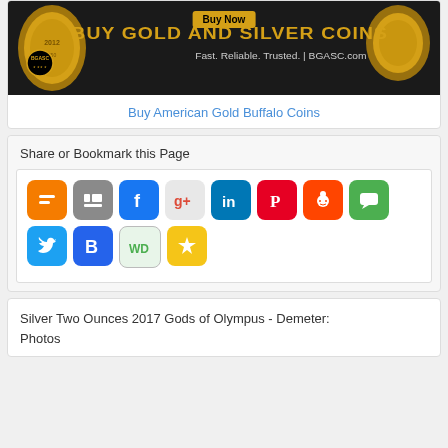[Figure (photo): BGASC Buy Gold and Silver Coins advertisement banner with gold coins and Buy Now button]
Buy American Gold Buffalo Coins
Share or Bookmark this Page
[Figure (infographic): Social media sharing icons: Blogger, MySpace/Stumbleupon, Facebook, Google+, LinkedIn, Pinterest, Reddit, Talk, Twitter, BlogMarks, WD, Favorites]
Silver Two Ounces 2017 Gods of Olympus - Demeter: Photos